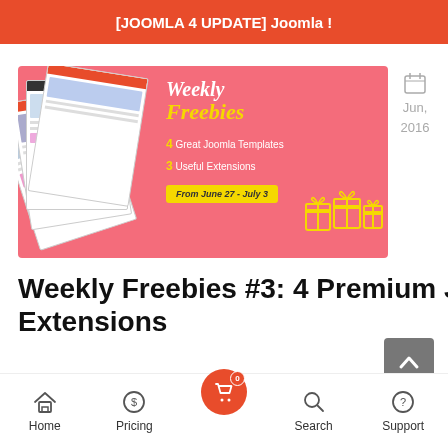[JOOMLA 4 UPDATE] Joomla !
[Figure (illustration): Weekly Freebies promotional banner with pink background showing stacked Joomla template screenshots on left, and text 'Weekly Freebies - 4 Great Joomla Templates, 3 Useful Extensions, From June 27 - July 3' with gift box icons]
Jun, 2016
Weekly Freebies #3: 4 Premium Joomla Templates and 3 Extensions
Home  Pricing  [cart: 0]  Search  Support